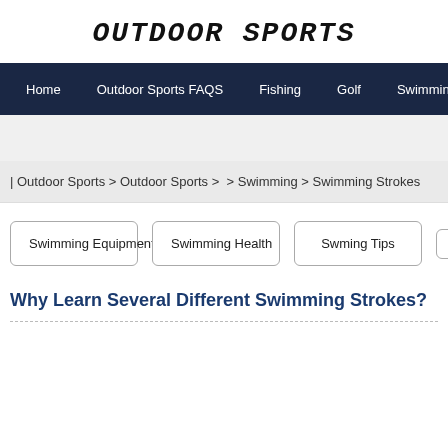OUTDOOR SPORTS
Home | Outdoor Sports FAQS | Fishing | Golf | Swimming | Skiing And
| Outdoor Sports > Outdoor Sports >  > Swimming > Swimming Strokes
Swimming Equipment
Swimming Health
Swming Tips
Why Learn Several Different Swimming Strokes?